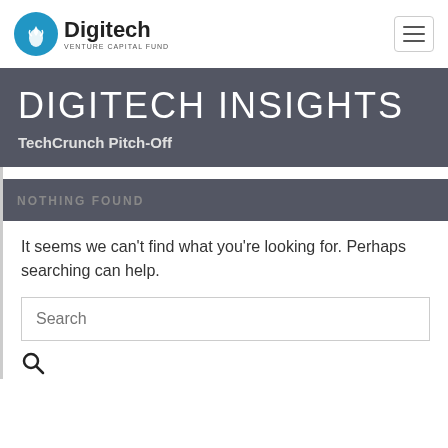Digitech Venture Capital Fund
DIGITECH INSIGHTS
TechCrunch Pitch-Off
NOTHING FOUND
It seems we can't find what you're looking for. Perhaps searching can help.
Search